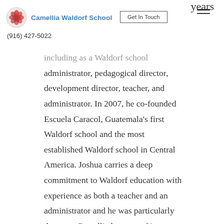Camellia Waldorf School | Get In Touch | (916) 427-5022 | years
including as a Waldorf school administrator, pedagogical director, development director, teacher, and administrator. In 2007, he co-founded Escuela Caracol, Guatemala's first Waldorf school and the most established Waldorf school in Central America. Joshua carries a deep commitment to Waldorf education with experience as both a teacher and an administrator and he was particularly drawn to Camellia because of its emphasis on collaboration, relationships, and diversity. His